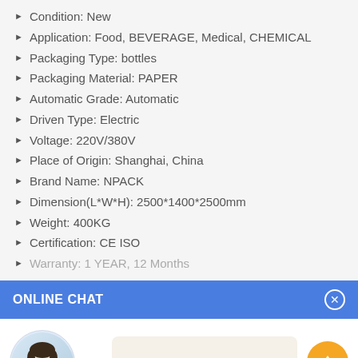Condition: New
Application: Food, BEVERAGE, Medical, CHEMICAL
Packaging Type: bottles
Packaging Material: PAPER
Automatic Grade: Automatic
Driven Type: Electric
Voltage: 220V/380V
Place of Origin: Shanghai, China
Brand Name: NPACK
Dimension(L*W*H): 2500*1400*2500mm
Weight: 400KG
Certification: CE ISO
Warranty: 1 YEAR, 12 Months
ONLINE CHAT
Hi,welcome to visit our website.
Cilina